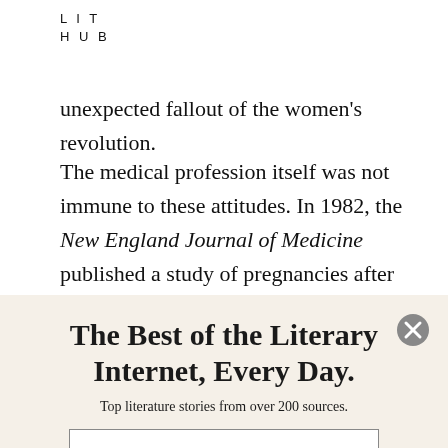LIT HUB
unexpected fallout of the women's revolution.
The medical profession itself was not immune to these attitudes. In 1982, the New England Journal of Medicine published a study of pregnancies after donor insemination, which concluded that fertility in women began to
The Best of the Literary Internet, Every Day.
Top literature stories from over 200 sources.